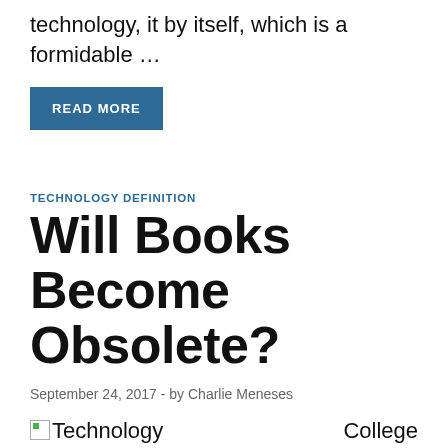technology, it by itself, which is a formidable …
READ MORE
TECHNOLOGY DEFINITION
Will Books Become Obsolete?
September 24, 2017  -  by Charlie Meneses
College students take the lead – college students can share and have a good time their studying by snapping photos of tasks, taking videos of